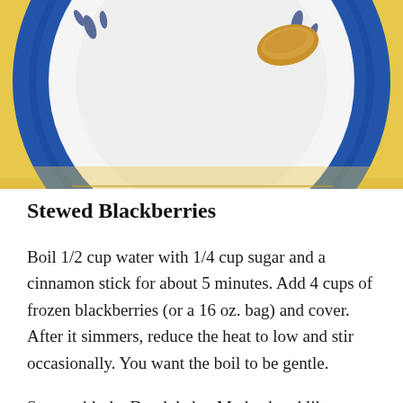[Figure (photo): Top-down photo of a blue decorative plate on a yellow tablecloth, with a pastry (Dutch baby) visible on the white plate interior. The plate has blue and white floral/leaf patterns on the rim.]
Stewed Blackberries
Boil 1/2 cup water with 1/4 cup sugar and a cinnamon stick for about 5 minutes. Add 4 cups of frozen blackberries (or a 16 oz. bag) and cover. After it simmers, reduce the heat to low and stir occasionally. You want the boil to be gentle.
Serve with the Dutch baby. My husband likes to coat the Dutch baby with lemon curd and then